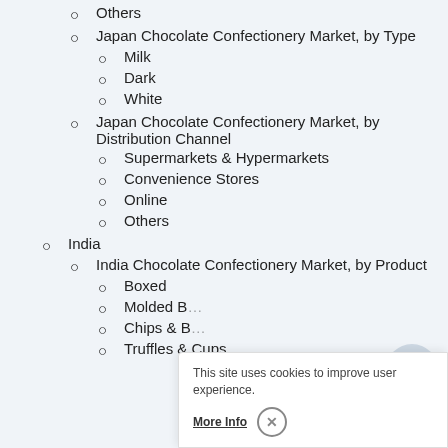Others
Japan Chocolate Confectionery Market, by Type
Milk
Dark
White
Japan Chocolate Confectionery Market, by Distribution Channel
Supermarkets & Hypermarkets
Convenience Stores
Online
Others
India
India Chocolate Confectionery Market, by Product
Boxed
Molded B…
Chips & B…
Truffles & Cups